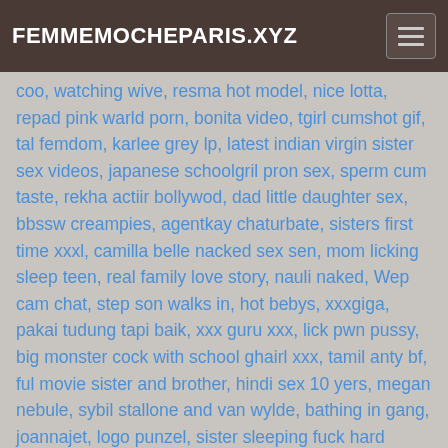FEMMEMOCHEPARIS.XYZ
coo, watching wive, resma hot model, nice lotta, repad pink warld porn, bonita video, tgirl cumshot gif, tal femdom, karlee grey lp, latest indian virgin sister sex videos, japanese schoolgril pron sex, sperm cum taste, rekha actiir bollywod, dad little daughter sex, bbssw creampies, agentkay chaturbate, sisters first time xxxl, camilla belle nacked sex sen, mom licking sleep teen, real family love story, nauli naked, Wep cam chat, step son walks in, hot bebys, xxxgiga, pakai tudung tapi baik, xxx guru xxx, lick pwn pussy, big monster cock with school ghairl xxx, tamil anty bf, ful movie sister and brother, hindi sex 10 yers, megan nebule, sybil stallone and van wylde, bathing in gang, joannajet, logo punzel, sister sleeping fuck hard brother, d gy style, sunny lonxxxx, hard ejaculating, denise van houten, aunties milk, zseg, ragini ips sxe hot video hd, Hairy asian nympho, tetas grandes maduras, KGQMD,